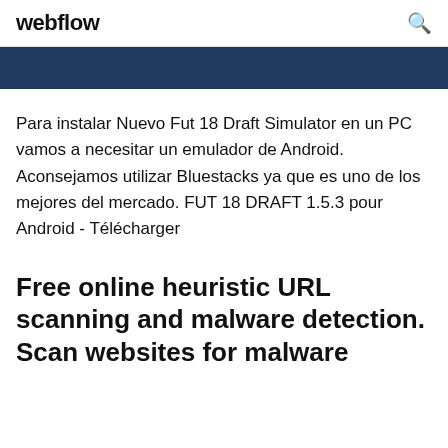webflow
[Figure (other): Dark blue banner strip]
Para instalar Nuevo Fut 18 Draft Simulator en un PC vamos a necesitar un emulador de Android. Aconsejamos utilizar Bluestacks ya que es uno de los mejores del mercado. FUT 18 DRAFT 1.5.3 pour Android - Télécharger
Free online heuristic URL scanning and malware detection. Scan websites for malware